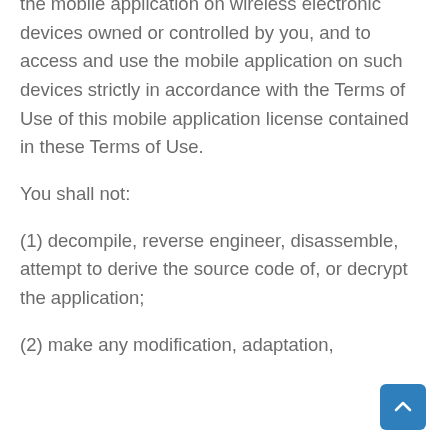the mobile application on wireless electronic devices owned or controlled by you, and to access and use the mobile application on such devices strictly in accordance with the Terms of Use of this mobile application license contained in these Terms of Use.
You shall not:
(1) decompile, reverse engineer, disassemble, attempt to derive the source code of, or decrypt the application;
(2) make any modification, adaptation,